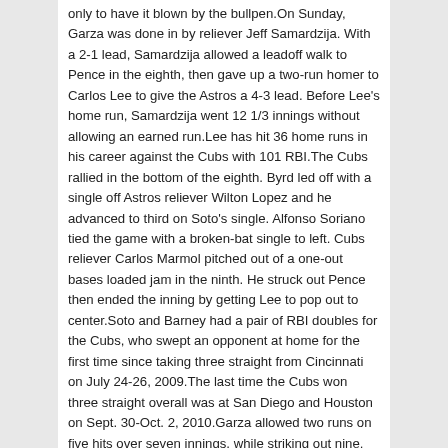only to have it blown by the bullpen.On Sunday, Garza was done in by reliever Jeff Samardzija. With a 2-1 lead, Samardzija allowed a leadoff walk to Pence in the eighth, then gave up a two-run homer to Carlos Lee to give the Astros a 4-3 lead. Before Lee's home run, Samardzija went 12 1/3 innings without allowing an earned run.Lee has hit 36 home runs in his career against the Cubs with 101 RBI.The Cubs rallied in the bottom of the eighth. Byrd led off with a single off Astros reliever Wilton Lopez and he advanced to third on Soto's single. Alfonso Soriano tied the game with a broken-bat single to left. Cubs reliever Carlos Marmol pitched out of a one-out bases loaded jam in the ninth. He struck out Pence then ended the inning by getting Lee to pop out to center.Soto and Barney had a pair of RBI doubles for the Cubs, who swept an opponent at home for the first time since taking three straight from Cincinnati on July 24-26, 2009.The last time the Cubs won three straight overall was at San Diego and Houston on Sept. 30-Oct. 2, 2010.Garza allowed two runs on five hits over seven innings, while striking out nine. He hasn't won since July 27.Clint Barmes also hit a solo home run for the major-league worst Astros, who have lost seven